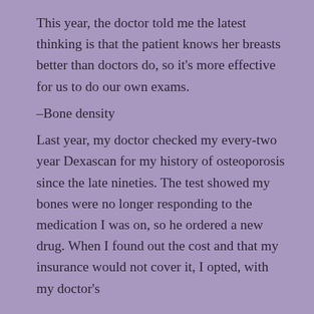This year, the doctor told me the latest thinking is that the patient knows her breasts better than doctors do, so it's more effective for us to do our own exams.
–Bone density
Last year, my doctor checked my every-two year Dexascan for my history of osteoporosis since the late nineties. The test showed my bones were no longer responding to the medication I was on, so he ordered a new drug. When I found out the cost and that my insurance would not cover it, I opted, with my doctor's